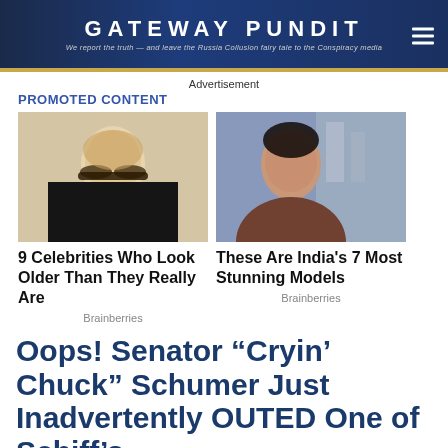GATEWAY PUNDIT — We report the truth — and leave the Russia Collusion fairy tale to the Conspiracy media
Advertisement
PROMOTED CONTENT
[Figure (photo): Blonde woman wearing glasses in black outfit]
[Figure (photo): Dark-haired woman with hoop earrings against city skyline]
9 Celebrities Who Look Older Than They Really Are
These Are India's 7 Most Stunning Models
Brainberries
Brainberries
Oops! Senator “Cryin’ Chuck” Schumer Just Inadvertently OUTED One of Schiff’s